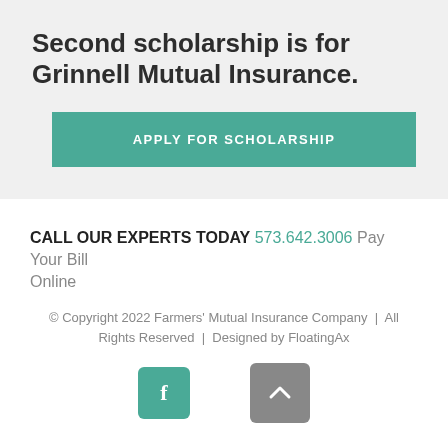Second scholarship is for Grinnell Mutual Insurance.
APPLY FOR SCHOLARSHIP
CALL OUR EXPERTS TODAY 573.642.3006  Pay Your Bill Online
© Copyright 2022 Farmers' Mutual Insurance Company  |  All Rights Reserved  |  Designed by FloatingAx